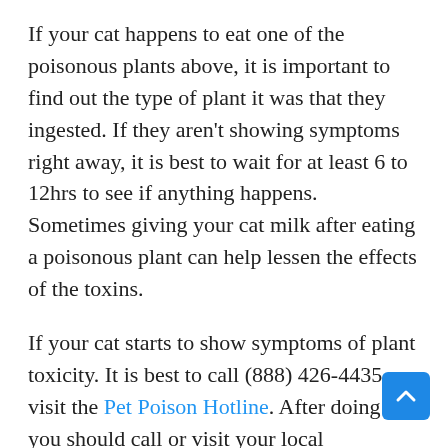If your cat happens to eat one of the poisonous plants above, it is important to find out the type of plant it was that they ingested. If they aren't showing symptoms right away, it is best to wait for at least 6 to 12hrs to see if anything happens. Sometimes giving your cat milk after eating a poisonous plant can help lessen the effects of the toxins.
If your cat starts to show symptoms of plant toxicity. It is best to call (888) 426-4435 or visit the Pet Poison Hotline. After doing so you should call or visit your local Veterinarian for expert consultation and treatment.